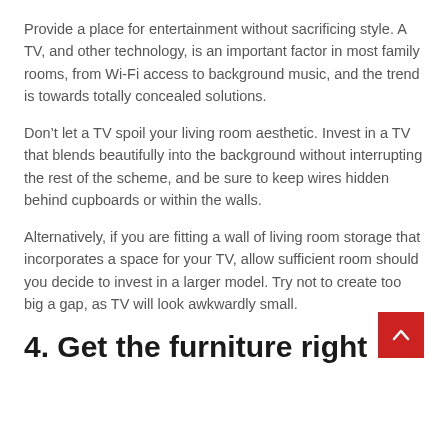Provide a place for entertainment without sacrificing style. A TV, and other technology, is an important factor in most family rooms, from Wi-Fi access to background music, and the trend is towards totally concealed solutions.
Don't let a TV spoil your living room aesthetic. Invest in a TV that blends beautifully into the background without interrupting the rest of the scheme, and be sure to keep wires hidden behind cupboards or within the walls.
Alternatively, if you are fitting a wall of living room storage that incorporates a space for your TV, allow sufficient room should you decide to invest in a larger model. Try not to create too big a gap, as TV will look awkwardly small.
4. Get the furniture right